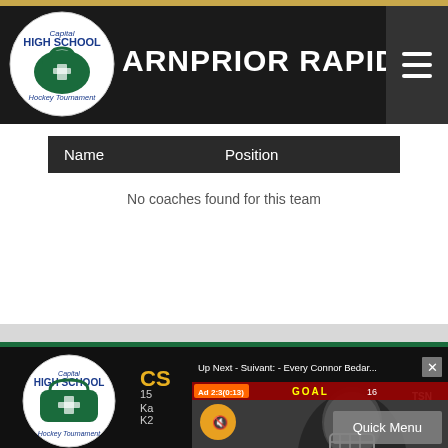[Figure (logo): Capital High School Hockey Tournament circular logo — green bag with cross, blue text]
ARNPRIOR RAPIDS
| Name | Position |
| --- | --- |
| No coaches found for this team |  |
[Figure (logo): Capital High School Hockey Tournament circular logo — large version on black background]
Up Next - Suivant: - Every Connor Bedar...
[Figure (screenshot): Video player showing hockey player with GOAL banner overlay and mute button]
CS
15
Ka
K2
Quick Menu